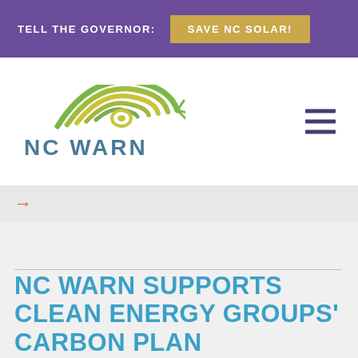TELL THE GOVERNOR: SAVE NC SOLAR!
[Figure (logo): NC WARN logo with North Carolina state shape outline in colorful concentric circles (green, yellow-green, blue tones) and text 'NC WARN' below in blue-gray]
→
NC WARN SUPPORTS CLEAN ENERGY GROUPS' CARBON PLAN